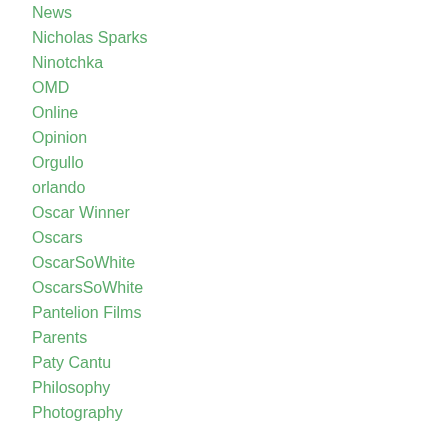News
Nicholas Sparks
Ninotchka
OMD
Online
Opinion
Orgullo
orlando
Oscar Winner
Oscars
OscarSoWhite
OscarsSoWhite
Pantelion Films
Parents
Paty Cantu
Philosophy
Photography